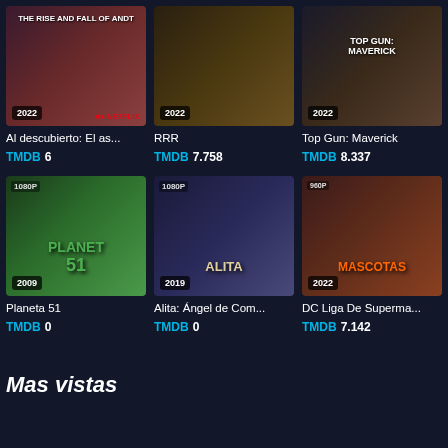[Figure (screenshot): Movie poster for Al descubierto: El as..., year 2022, Netflix badge]
Al descubierto: El as...
TMDB 6
[Figure (screenshot): Movie poster for RRR, year 2022]
RRR
TMDB 7.758
[Figure (screenshot): Movie poster for Top Gun: Maverick, year 2022]
Top Gun: Maverick
TMDB 8.337
[Figure (screenshot): Movie poster for Planeta 51, year 2009, 1080P badge]
Planeta 51
TMDB 0
[Figure (screenshot): Movie poster for Alita: Ángel de Com..., year 2019, 1080P badge]
Alita: Ángel de Com...
TMDB 0
[Figure (screenshot): Movie poster for DC Liga De Superma..., year 2022, 4K badge]
DC Liga De Superma...
TMDB 7.142
Mas vistas